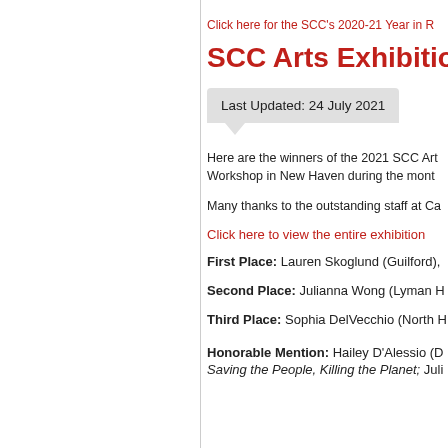Click here for the SCC's 2020-21 Year in R
SCC Arts Exhibition W
Last Updated: 24 July 2021
Here are the winners of the 2021 SCC Arts Workshop in New Haven during the month
Many thanks to the outstanding staff at Ca
Click here to view the entire exhibition
First Place:  Lauren Skoglund (Guilford),
Second Place:  Julianna Wong (Lyman H
Third Place:  Sophia DelVecchio (North H
Honorable Mention:  Hailey D'Alessio (D
Saving the People, Killing the Planet;  Juli